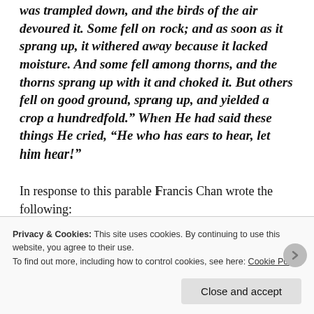was trampled down, and the birds of the air devoured it. Some fell on rock; and as soon as it sprang up, it withered away because it lacked moisture. And some fell among thorns, and the thorns sprang up with it and choked it. But others fell on good ground, sprang up, and yielded a crop a hundredfold." When He had said these things He cried, "He who has ears to hear, let him hear!"
In response to this parable Francis Chan wrote the following:
Privacy & Cookies: This site uses cookies. By continuing to use this website, you agree to their use.
To find out more, including how to control cookies, see here: Cookie Policy